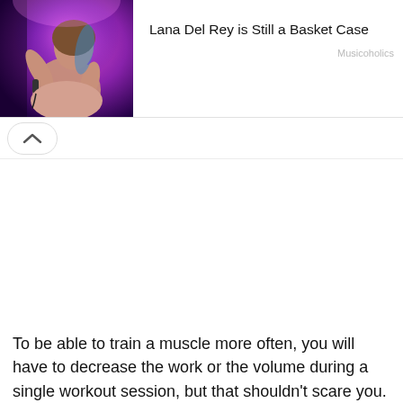[Figure (photo): Singer performing on stage with microphone, purple/pink lighting background]
Lana Del Rey is Still a Basket Case
Musicoholics
[Figure (other): Up chevron button in a rounded rectangle]
To be able to train a muscle more often, you will have to decrease the work or the volume during a single workout session, but that shouldn't scare you. Instead of training your pecs with 12 sets in one session, you can do those 12 sets